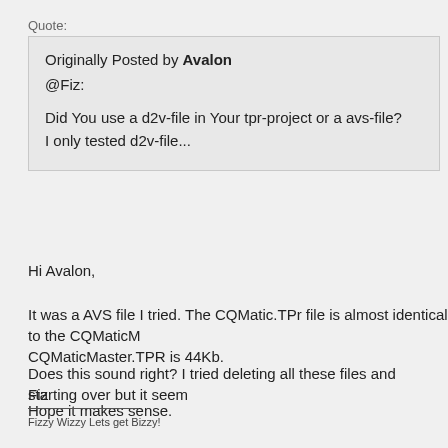Quote:
Originally Posted by Avalon
@Fiz:

Did You use a d2v-file in Your tpr-project or a avs-file?
I only tested d2v-file...
Hi Avalon,
It was a AVS file I tried. The CQMatic.TPr file is almost identical to the CQMaticM CQMaticMaster.TPR is 44Kb.
Does this sound right? I tried deleting all these files and starting over but it seem
Hope it makes sense.
Fiz
Fizzy Wizzy Lets get Bizzy!